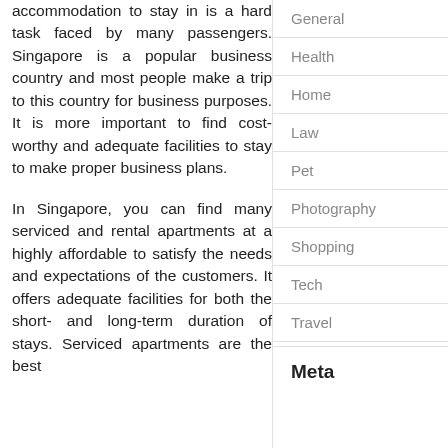accommodation to stay in is a hard task faced by many passengers. Singapore is a popular business country and most people make a trip to this country for business purposes. It is more important to find cost-worthy and adequate facilities to stay to make proper business plans.
In Singapore, you can find many serviced and rental apartments at a highly affordable to satisfy the needs and expectations of the customers. It offers adequate facilities for both the short- and long-term duration of stays. Serviced apartments are the best
General
Health
Home
Law
Pet
Photography
Shopping
Tech
Travel
Meta